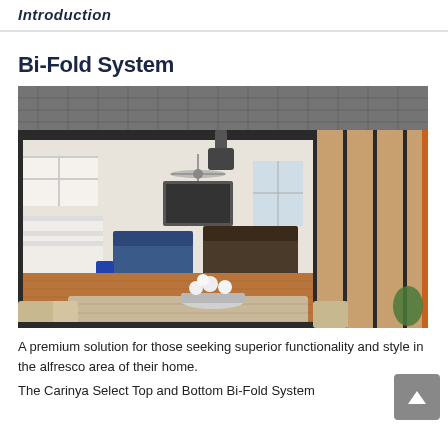Introduction
Bi-Fold System
[Figure (photo): Open bi-fold door system showing interior living area with kitchen, lounge, and outdoor dining table with white flowers in foreground. Dark aluminium frames with multiple folded panels stacked to the right side.]
A premium solution for those seeking superior functionality and style in the alfresco area of their home.
The Carinya Select Top and Bottom Bi-Fold System